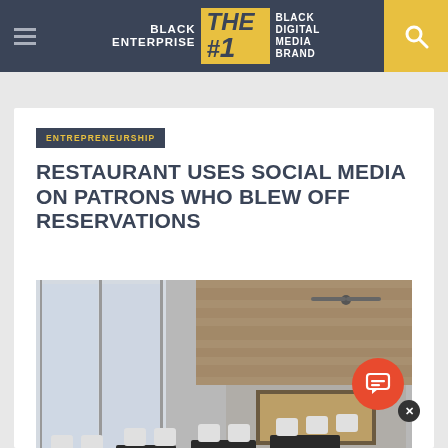BLACK ENTERPRISE THE #1 BLACK DIGITAL MEDIA BRAND
ENTREPRENEURSHIP
RESTAURANT USES SOCIAL MEDIA ON PATRONS WHO BLEW OFF RESERVATIONS
[Figure (photo): Interior of an upscale modern restaurant with dark tables, white chairs, large windows, and a wood-paneled accent wall with a lit display case]